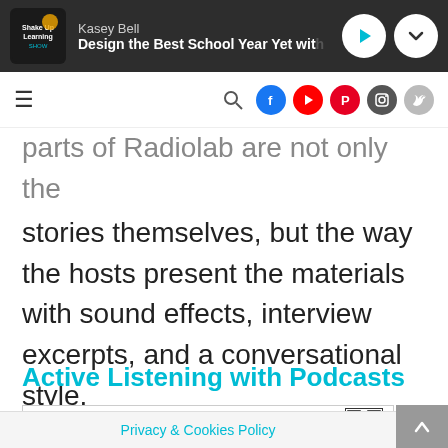Kasey Bell — Design the Best School Year Yet with
parts of Radiolab are not only the stories themselves, but the way the hosts present the materials with sound effects, interview excerpts, and a conversational style.
Active Listening with Podcasts
[Figure (screenshot): Podcast Listening Organizer document with QR code]
Privacy & Cookies Policy